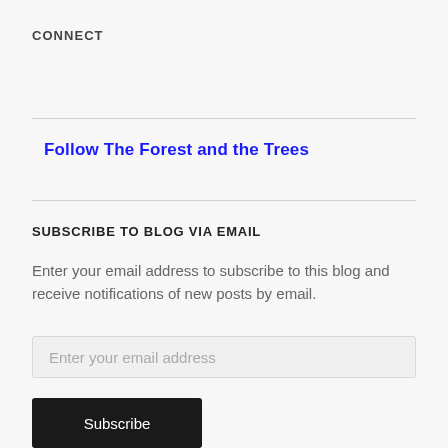CONNECT
Follow The Forest and the Trees
SUBSCRIBE TO BLOG VIA EMAIL
Enter your email address to subscribe to this blog and receive notifications of new posts by email.
Enter your email address
Subscribe